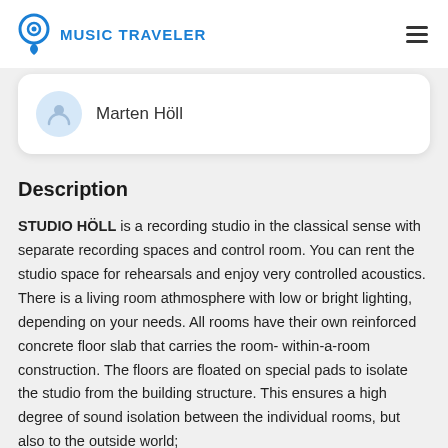MUSIC TRAVELER
Marten Höll
Description
STUDIO HÖLL is a recording studio in the classical sense with separate recording spaces and control room. You can rent the studio space for rehearsals and enjoy very controlled acoustics. There is a living room athmosphere with low or bright lighting, depending on your needs. All rooms have their own reinforced concrete floor slab that carries the room- within-a-room construction. The floors are floated on special pads to isolate the studio from the building structure. This ensures a high degree of sound isolation between the individual rooms, but also to the outside world;